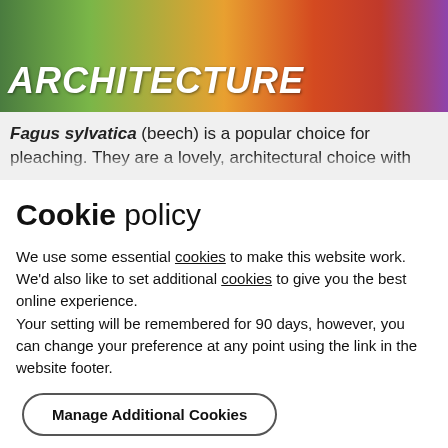[Figure (photo): Colorful garden/plant image with orange, red, purple, and green tones. Bold white italic text 'ARCHITECTURE' overlaid at the bottom left.]
Fagus sylvatica (beech) is a popular choice for pleaching. They are a lovely, architectural choice with vibrant foliage that is lime-green in spring, turning
Cookie policy
We use some essential cookies to make this website work.
We'd also like to set additional cookies to give you the best online experience.
Your setting will be remembered for 90 days, however, you can change your preference at any point using the link in the website footer.
Manage Additional Cookies
Accept All Cookies